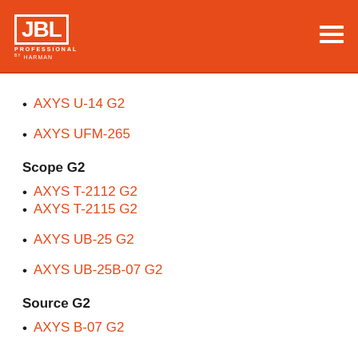JBL Professional by Harman
AXYS U-14 G2
AXYS UFM-265
Scope G2
AXYS T-2112 G2
AXYS T-2115 G2
AXYS UB-25 G2
AXYS UB-25B-07 G2
Source G2
AXYS B-07 G2